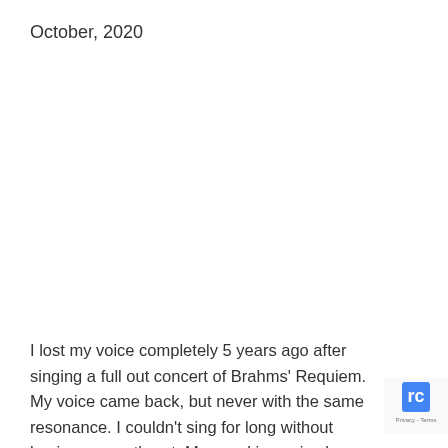October, 2020
I lost my voice completely 5 years ago after singing a full out concert of Brahms' Requiem. My voice came back, but never with the same resonance. I couldn't sing for long without having a sore throat. My speaking voice became